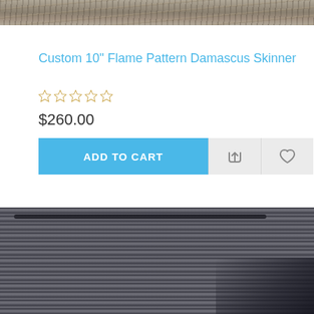[Figure (photo): Top portion of a product image showing a rustic stone or rock textured surface, partially cropped at top of page.]
Custom 10" Flame Pattern Damascus Skinner
☆☆☆☆☆ (star rating, no reviews)
$260.00
ADD TO CART
[Figure (photo): Bottom portion of a product image showing a knife with Damascus steel blade resting on a weathered wooden surface with a black leather or fabric sheath visible.]